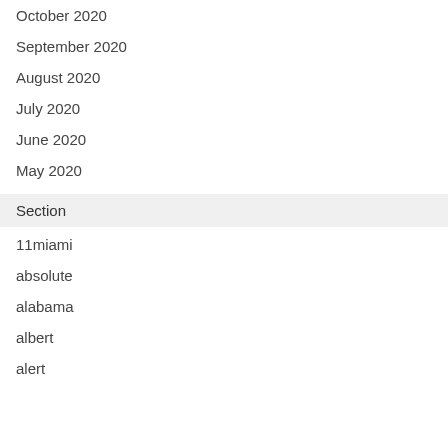October 2020
September 2020
August 2020
July 2020
June 2020
May 2020
Section
11miami
absolute
alabama
albert
alert